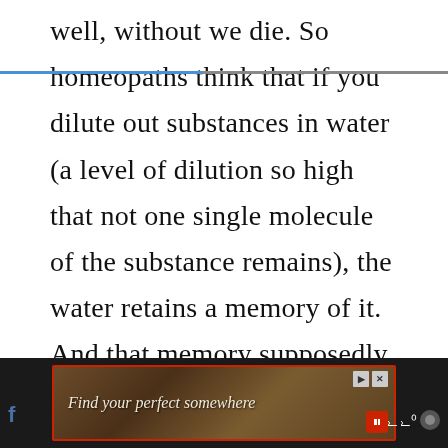well, without we die. So homeopaths think that if you dilute out substances in water (a level of dilution so high that not one single molecule of the substance remains), the water retains a memory of it. And that memory supposedly cures things, or does something medical. Since water cannot retain memory of anything, the details after that become irrelevant, because their basic premise is about as much of
[Figure (screenshot): Advertisement banner showing 'Find your perfect somewhere' with dark background image, red border, play button, and close/skip controls. Part of a mobile browser UI with social media icon on left and Tidal music app icon on right.]